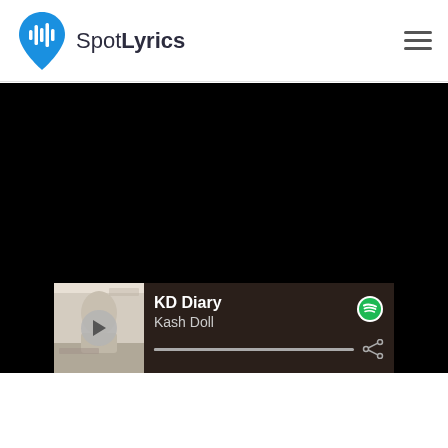SpotLyrics
[Figure (screenshot): Black background area filling the main content section of the SpotLyrics website]
[Figure (screenshot): Music player bar at the bottom showing KD Diary by Kash Doll with album art, play button, Spotify icon, progress bar, and share icon]